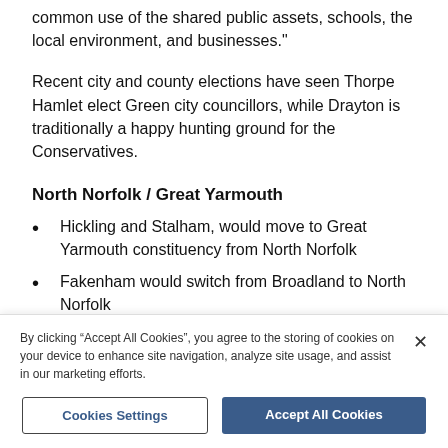common use of the shared public assets, schools, the local environment, and businesses."
Recent city and county elections have seen Thorpe Hamlet elect Green city councillors, while Drayton is traditionally a happy hunting ground for the Conservatives.
North Norfolk / Great Yarmouth
Hickling and Stalham, would move to Great Yarmouth constituency from North Norfolk
Fakenham would switch from Broadland to North Norfolk
By clicking “Accept All Cookies”, you agree to the storing of cookies on your device to enhance site navigation, analyze site usage, and assist in our marketing efforts.